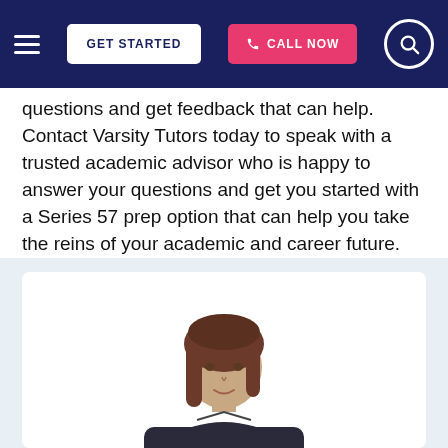GET STARTED | CALL NOW | [search]
questions and get feedback that can help. Contact Varsity Tutors today to speak with a trusted academic advisor who is happy to answer your questions and get you started with a Series 57 prep option that can help you take the reins of your academic and career future.
[Figure (photo): Photo of a woman with shoulder-length brown hair wearing a dark jacket, shown from the waist up against a white background, inside a white card on a light blue section.]